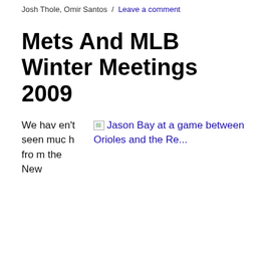Josh Thole, Omir Santos / Leave a comment
Mets And MLB Winter Meetings 2009
We haven't seen much from the New
[Figure (photo): Broken image placeholder: Jason Bay at a game between Orioles and the Re...]